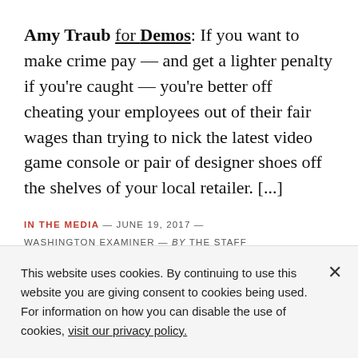Amy Traub for Demos: If you want to make crime pay — and get a lighter penalty if you're caught — you're better off cheating your employees out of their fair wages than trying to nick the latest video game console or pair of designer shoes off the shelves of your local retailer. [...]
IN THE MEDIA — JUNE 19, 2017 — WASHINGTON EXAMINER — By THE STAFF
This website uses cookies. By continuing to use this website you are giving consent to cookies being used. For information on how you can disable the use of cookies, visit our privacy policy.